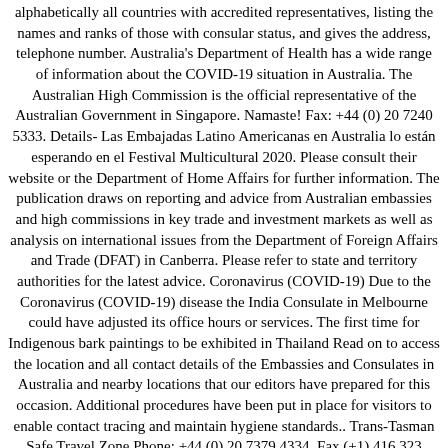alphabetically all countries with accredited representatives, listing the names and ranks of those with consular status, and gives the address, telephone number. Australia's Department of Health has a wide range of information about the COVID-19 situation in Australia. The Australian High Commission is the official representative of the Australian Government in Singapore. Namaste! Fax: +44 (0) 20 7240 5333. Details- Las Embajadas Latino Americanas en Australia lo están esperando en el Festival Multicultural 2020. Please consult their website or the Department of Home Affairs for further information. The publication draws on reporting and advice from Australian embassies and high commissions in key trade and investment markets as well as analysis on international issues from the Department of Foreign Affairs and Trade (DFAT) in Canberra. Please refer to state and territory authorities for the latest advice. Coronavirus (COVID-19) Due to the Coronavirus (COVID-19) disease the India Consulate in Melbourne could have adjusted its office hours or services. The first time for Indigenous bark paintings to be exhibited in Thailand Read on to access the location and all contact details of the Embassies and Consulates in Australia and nearby locations that our editors have prepared for this occasion. Additional procedures have been put in place for visitors to enable contact tracing and maintain hygiene standards.. Trans-Tasman Safe Travel Zone Phone: +44 (0) 20 7379 4334. Fax (+1) 416 323 4295. Australians can apply for a visa to visit Spain at these offices. Consulate General of the Republic of Belarus in Sydney. While New Zealand